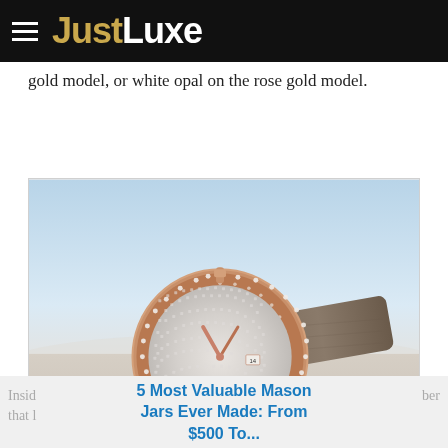JustLuxe
gold model, or white opal on the rose gold model.
[Figure (photo): A luxury diamond-encrusted watch with rose gold case and brown alligator leather strap, displayed on a sandy surface against a light blue sky background.]
5 Most Valuable Mason Jars Ever Made: From $500 To...